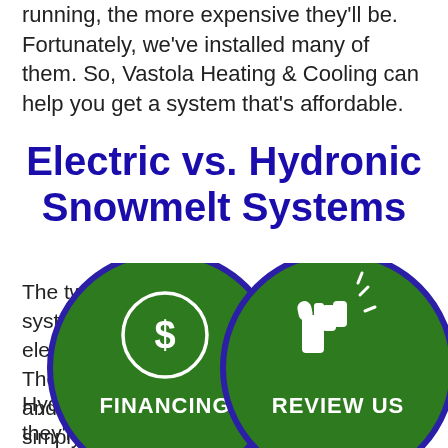running, the more expensive they'll be. Fortunately, we've installed many of them. So, Vastola Heating & Cooling can help you get a system that's affordable.
Electric vs. Hydronic Snowmelt Systems
The two most popular types of snowmelt systems are electric and hydronic. An electric system is made of only three parts. There's the heating cable, a control unit, and the activator. The heating cables simply deliver heat to whatever needs to have snow melted. Control units let engineers specify how the system operates. Fi... activator is r...cts when there's s...
Hydro... nt... l, but they're... ow... sing
[Figure (infographic): Two overlapping circular buttons: left circle is dark green with a dollar sign icon and 'FINANCING' label in white bold text, outlined in dark blue/purple. Right circle is dark green with a thumbs-up icon and 'REVIEW US' label in white bold text, outlined in dark blue/purple.]